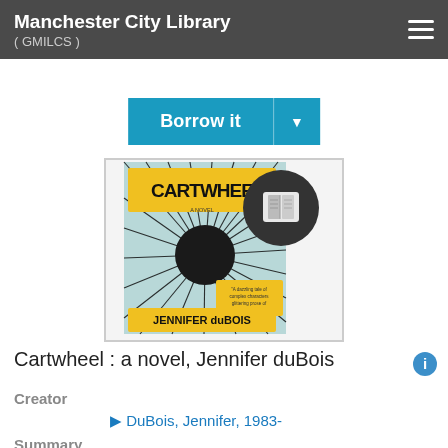Manchester City Library ( GMILCS )
Borrow it
[Figure (illustration): Book cover of 'Cartwheel: a novel' by Jennifer duBois. The cover features a yellow banner with hand-written title 'CARTWHEEL' at the top, a radiating black starburst pattern in the center on a light blue background, a yellow quote banner in the lower right, and the author name 'JENNIFER duBOIS' in yellow at the bottom. A dark circular badge with a book icon overlaps the upper right of the cover.]
Cartwheel : a novel, Jennifer duBois
Creator
DuBois, Jennifer, 1983-
Summary